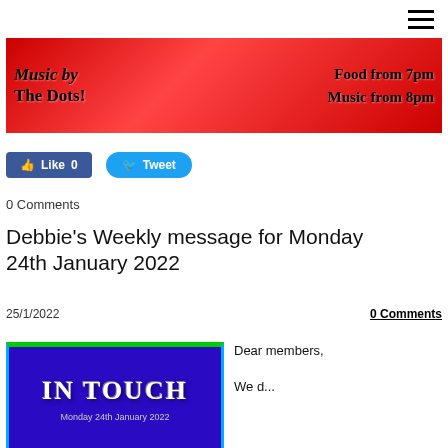[Figure (illustration): Red banner promotional image for event with text: Music by The Dots! Food from 7pm Music from 8pm]
[Figure (illustration): Facebook Like button (0 likes) and Twitter Tweet button]
0 Comments
Debbie's Weekly message for Monday 24th January 2022
25/1/2022
0 Comments
[Figure (illustration): IN TOUCH newsletter image with Monday 24th January 2022 subtitle, blue/purple background]
Dear members,